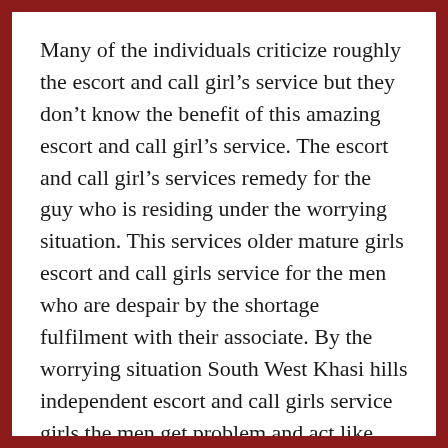Many of the individuals criticize roughly the escort and call girl’s service but they don’t know the benefit of this amazing escort and call girl’s service. The escort and call girl’s services remedy for the guy who is residing under the worrying situation. This services older mature girls escort and call girls service for the men who are despair by the shortage fulfilment with their associate. By the worrying situation South West Khasi hills independent escort and call girls service girls the men get problem and act like cadaver. The absence fulfilment gives the guy stress. This particular service makes the men strenuous and they again begin work up. If my beloved buddies you want enhance yourself with the power and the resulting in enjoyment then you must try the escort and call girl’s service in the South West Khasi hills. As plenty of your current run up the labyrinth of the pressure South